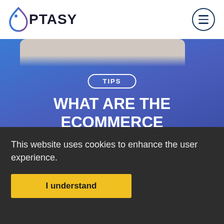OPTASY
[Figure (screenshot): Partial cropped photo visible behind blue hero section, showing a person in white clothing against a light background]
TIPS
WHAT ARE THE ECOMMERCE TRENDS IN 2017 WITH THE BIGGEST IMPACT ON YOUR BUSINESS? TOP 12. PART 2
This website uses cookies to enhance the user experience.
I understand